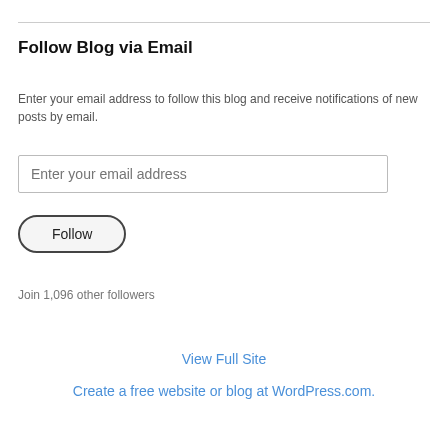Follow Blog via Email
Enter your email address to follow this blog and receive notifications of new posts by email.
[Figure (other): Email input field with placeholder text 'Enter your email address']
[Figure (other): Follow button with rounded border]
Join 1,096 other followers
View Full Site
Create a free website or blog at WordPress.com.